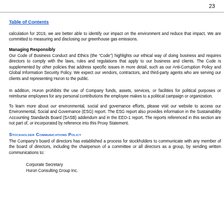23
Table of Contents
calculation for 2019, we are better able to identify our impact on the environment and reduce that impact. We are committed to measuring and disclosing our greenhouse gas emissions.
Managing Responsibly
Our Code of Business Conduct and Ethics (the “Code”) highlights our ethical way of doing business and requires directors to comply with the laws, rules and regulations that apply to our business and clients. The Code is supplemented by other policies that address specific issues in more detail, such as our Anti-Corruption Policy and Global Information Security Policy. We expect our vendors, contractors, and third-party agents who are serving our clients and representing Huron to the public.
In addition, Huron prohibits the use of Company funds, assets, services, or facilities for political purposes or reimburse employees for any personal contributions the employee makes to a political campaign or organization.
To learn more about our environmental, social and governance efforts, please visit our website to access our Environmental, Social and Governance (ESG) report. The ESG report also provides information in the Sustainability Accounting Standards Board (SASB) addendum and in the EEO-1 report. The reports referenced in this section are not part of, or incorporated by reference into this Proxy Statement.
Stockholder Communications Policy
The Company’s board of directors has established a process for stockholders to communicate with any member of the board of directors, including the chairperson of a committee or all directors as a group, by sending written communications to:
Corporate Secretary
Huron Consulting Group Inc.